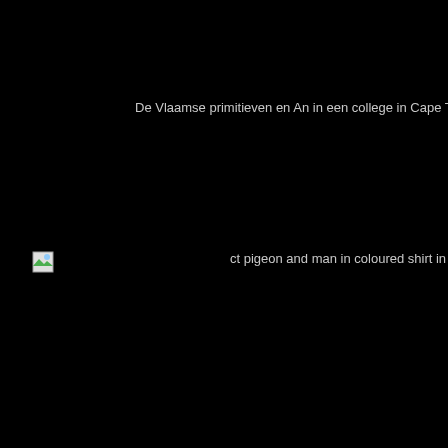De Vlaamse primitieven en An in een college in Cape Town
[Figure (photo): Broken image placeholder icon (small green/white icon) with caption about ct pigeon and man in coloured shirt in Bo-Ka]
ct pigeon and man in coloured shirt in Bo-Ka